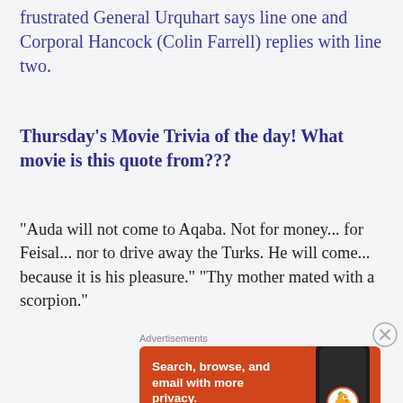frustrated General Urquhart says line one and Corporal Hancock (Colin Farrell) replies with line two.
Thursday's Movie Trivia of the day! What movie is this quote from???
“Auda will not come to Aqaba. Not for money... for Feisal... nor to drive away the Turks. He will come... because it is his pleasure.” “Thy mother mated with a scorpion.”
[Figure (infographic): DuckDuckGo advertisement banner with orange background. Text: 'Search, browse, and email with more privacy. All in One Free App'. Shows a phone graphic and DuckDuckGo logo.]